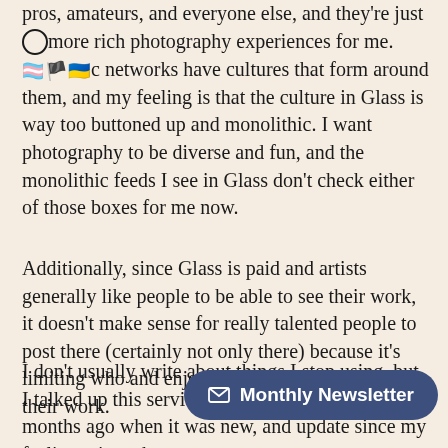pros, amateurs, and everyone else, and they're just more rich photography experiences for me. [flags] networks have cultures that form around them, and my feeling is that the culture in Glass is way too buttoned up and monolithic. I want photography to be diverse and fun, and the monolithic feeds I see in Glass don't check either of those boxes for me now.
Additionally, since Glass is paid and artists generally like people to be able to see their work, it doesn't make sense for really talented people to post there (certainly not only there) because it's limiting who and enjoy (and maybe purchase) their work.
I don't usually write about things I stop using, but I talked up this service a good amount a few months ago when it was new, and [Monthly Newsletter button overlay] update since my feelings [obscured] since then.
[Figure (other): Monthly Newsletter button overlay — dark blue rounded pill button with envelope icon and text 'Monthly Newsletter']